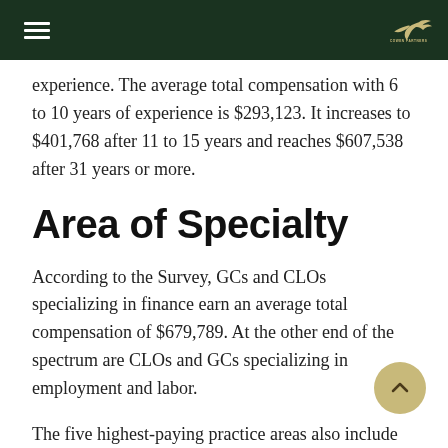Cowen Partners Executive Search
experience. The average total compensation with 6 to 10 years of experience is $293,123. It increases to $401,768 after 11 to 15 years and reaches $607,538 after 31 years or more.
Area of Specialty
According to the Survey, GCs and CLOs specializing in finance earn an average total compensation of $679,789. At the other end of the spectrum are CLOs and GCs specializing in employment and labor.
The five highest-paying practice areas also include